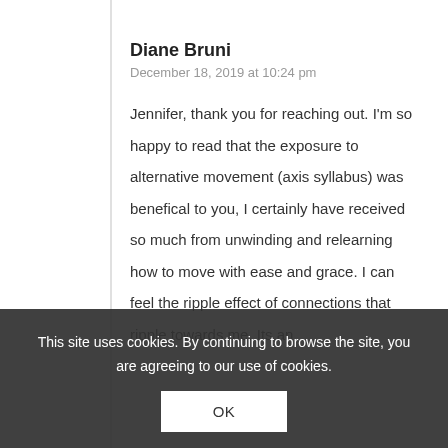Diane Bruni
December 18, 2019 at 10:24 pm
Jennifer, thank you for reaching out. I'm so happy to read that the exposure to alternative movement (axis syllabus) was benefical to you, I certainly have received so much from unwinding and relearning how to move with ease and grace. I can feel the ripple effect of connections that ripple towards me. Its an ... ility of a body t... s a very humbling...
This site uses cookies. By continuing to browse the site, you are agreeing to our use of cookies.
OK